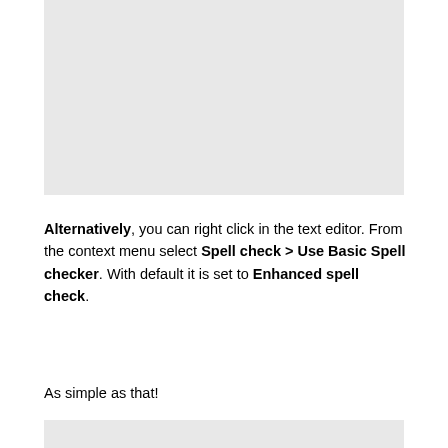[Figure (screenshot): Screenshot or UI image placeholder shown as grey rectangle at the top of the page]
Alternatively, you can right click in the text editor. From the context menu select Spell check > Use Basic Spell checker. With default it is set to Enhanced spell check.
As simple as that!
[Figure (screenshot): Screenshot or UI image placeholder shown as grey rectangle at the bottom of the page]